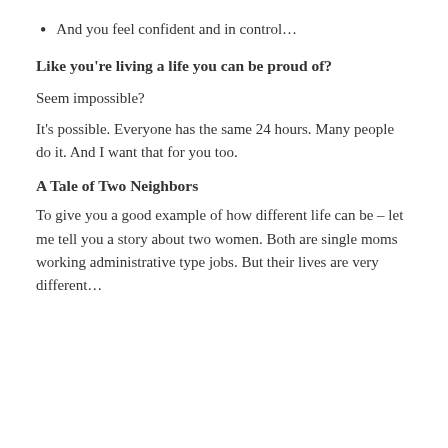And you feel confident and in control…
Like you're living a life you can be proud of?
Seem impossible?
It's possible. Everyone has the same 24 hours. Many people do it. And I want that for you too.
A Tale of Two Neighbors
To give you a good example of how different life can be – let me tell you a story about two women. Both are single moms working administrative type jobs. But their lives are very different…